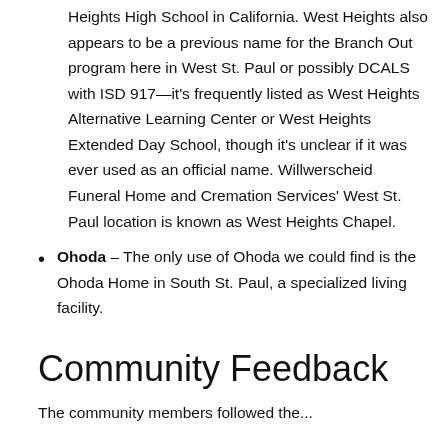Heights High School in California. West Heights also appears to be a previous name for the Branch Out program here in West St. Paul or possibly DCALS with ISD 917—it's frequently listed as West Heights Alternative Learning Center or West Heights Extended Day School, though it's unclear if it was ever used as an official name. Willwerscheid Funeral Home and Cremation Services' West St. Paul location is known as West Heights Chapel.
Ohoda – The only use of Ohoda we could find is the Ohoda Home in South St. Paul, a specialized living facility.
Community Feedback
The community members followed the...